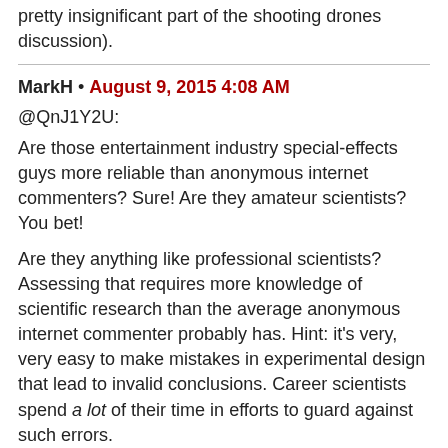(... pretty insignificant part of the shooting drones discussion).
MarkH • August 9, 2015 4:08 AM
@QnJ1Y2U:
Are those entertainment industry special-effects guys more reliable than anonymous internet commenters? Sure! Are they amateur scientists? You bet!
Are they anything like professional scientists? Assessing that requires more knowledge of scientific research than the average anonymous internet commenter probably has. Hint: it's very, very easy to make mistakes in experimental design that lead to invalid conclusions. Career scientists spend a lot of their time in efforts to guard against such errors.
A propos of my hypothesis of point-down stabilization:
You have it correctly, the hypothesis wouldn't apply to small-arms rounds, which in general are aerodynamically unstable. It would be possible to make a stable bullet, but as far as I'm aware these aren't on the market.